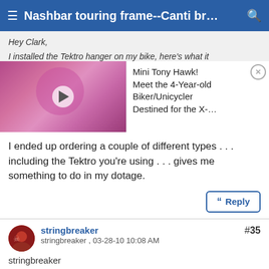≡ Nashbar touring frame--Canti br… 🔍
Hey Clark,
I installed the Tektro hanger on my bike, here's what it
[Figure (screenshot): Video thumbnail of a child in pink on a bike/unicycle, with overlay ad text: Mini Tony Hawk! Meet the 4-Year-old Biker/Unicycler Destined for the X-...]
I ended up ordering a couple of different types . . . including the Tektro you're using . . . gives me something to do in my dotage.
❝ Reply
stringbreaker , 03-28-10 10:08 AM
stringbreaker